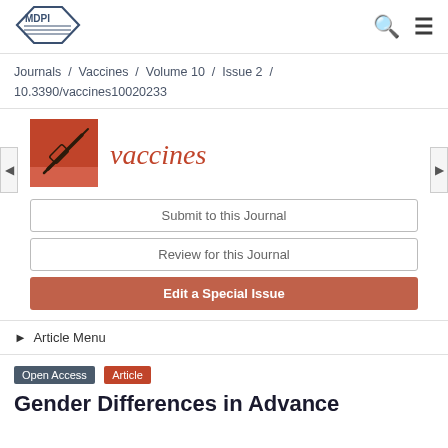[Figure (logo): MDPI logo — hexagonal outline with MDPI text inside]
Journals / Vaccines / Volume 10 / Issue 2 / 10.3390/vaccines10020233
[Figure (illustration): Vaccines journal cover: orange-red square with syringe silhouette]
vaccines
Submit to this Journal
Review for this Journal
Edit a Special Issue
▶ Article Menu
Open Access   Article
Gender Differences in Advance...